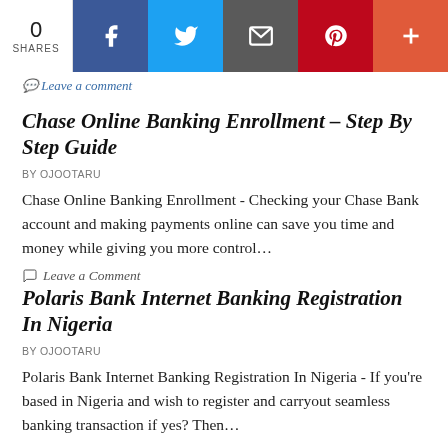[Figure (screenshot): Social sharing bar with share count (0 SHARES), Facebook, Twitter, Email, Pinterest, and More (+) buttons]
Leave a Comment
Chase Online Banking Enrollment – Step By Step Guide
BY OJOOTARU
Chase Online Banking Enrollment  - Checking your Chase Bank account and making payments online can save you time and money while giving you more control…
Leave a Comment
Polaris Bank Internet Banking Registration In Nigeria
BY OJOOTARU
Polaris Bank Internet Banking Registration In Nigeria - If you're based in Nigeria and wish to register and carryout seamless banking transaction if yes? Then…